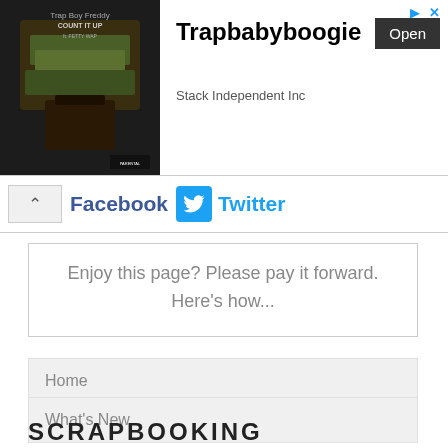[Figure (photo): Mobile app advertisement banner for Trapbabyboogie by Stack Independent Inc, showing album art on the left and app name, subtitle and Open button on the right]
Facebook  Twitter
Enjoy this page? Please pay it forward. Here's how...
Home
What's New
SCRAPBOOKING